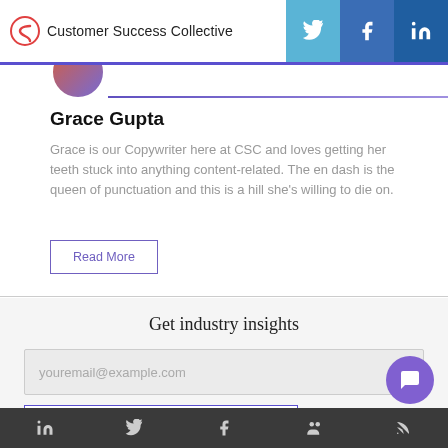Customer Success Collective
Grace Gupta
Grace is our Copywriter here at CSC and loves getting her teeth stuck into anything content-related. The en dash is the queen of punctuation and this is a hill she's willing to die on.
Read More
Get industry insights
youremail@example.com
Social icons: LinkedIn, Twitter, Facebook, Community, RSS